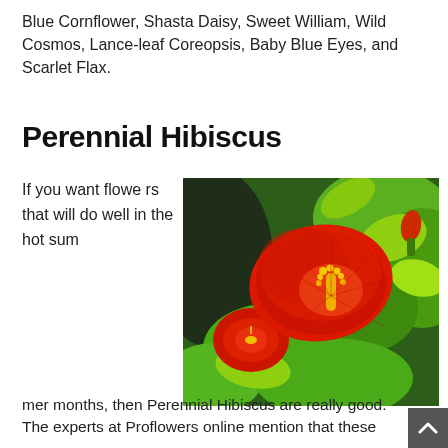Blue Cornflower, Shasta Daisy, Sweet William, Wild Cosmos, Lance-leaf Coreopsis, Baby Blue Eyes, and Scarlet Flax.
Perennial Hibiscus
If you want flowers that will do well in the hot summer months, then Perennial Hibiscus are really good. The experts at Proflowers online mention that these
[Figure (photo): A close-up photograph of bright red hibiscus flowers with yellow stamens, surrounded by vivid green leaves and foliage.]